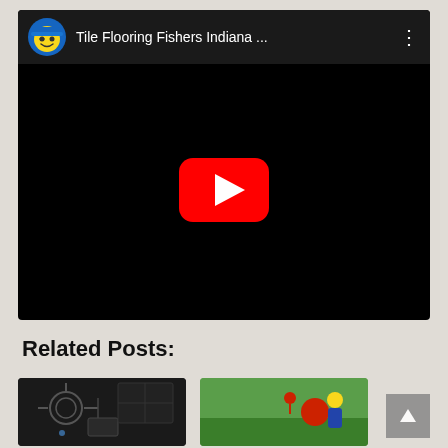[Figure (screenshot): YouTube video embed showing 'Tile Flooring Fishers Indiana ...' with a smiley face avatar wearing a blue cap, black video area with a YouTube play button (red rounded rectangle with white triangle), and a three-dot menu icon.]
Related Posts:
[Figure (photo): Thumbnail image of a dark room with some plumbing fixtures visible]
[Figure (photo): Thumbnail image of a green surface with colorful objects (red and yellow)]